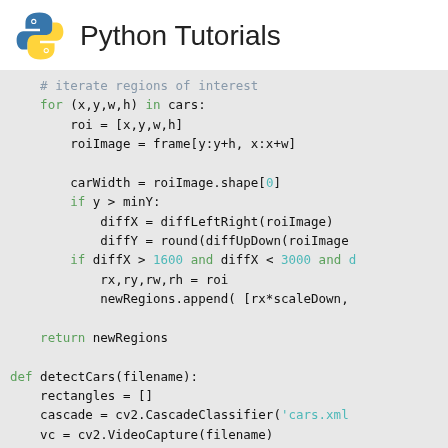[Figure (logo): Python Tutorials logo with Python snake icon (blue and yellow) next to the text 'Python Tutorials']
Python code snippet showing a for loop iterating regions of interest (cars), computing carWidth, diffX, diffY, appending new regions, returning newRegions, then a detectCars function definition with cascade classifier and video capture setup, if/else for vc.isOpened(), and roi initialization.